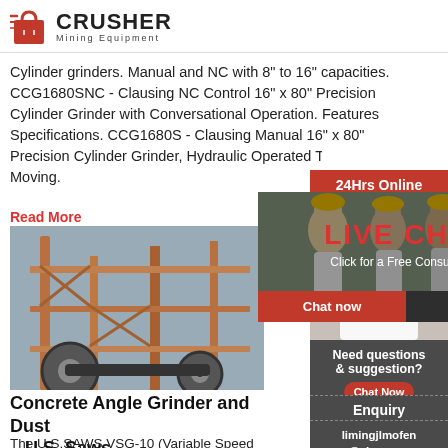[Figure (logo): Crusher Mining Equipment logo with red shopping bag icon and bold CRUSHER text]
Cylinder grinders. Manual and NC with 8" to 16" capacities. CCG1680SNC - Clausing NC Control 16" x 80" Precision Cylinder Grinder with Conversational Operation. Features Specifications. CCG1680S - Clausing Manual 16" x 80" Precision Cylinder Grinder, Hydraulic Operated Table Moving.
Read More
[Figure (photo): Industrial machinery/crusher equipment photo]
[Figure (photo): Live Chat overlay with construction workers in hard hats, LIVE CHAT text in red, Click for a Free Consultation subtitle, Chat now and Chat later buttons]
[Figure (photo): Customer service representative with headset, 24Hrs Online banner, Need questions & suggestion box, Chat Now button, Enquiry section, limingjlmofen@sina.com contact]
Concrete Angle Grinder and Dust – U.S. Saws
The U.S.SAWS VSG-10 (Variable Speed Grinder) use, concrete floor grinding and concrete floor p machine that will prep concrete surfaces in areas that cannot